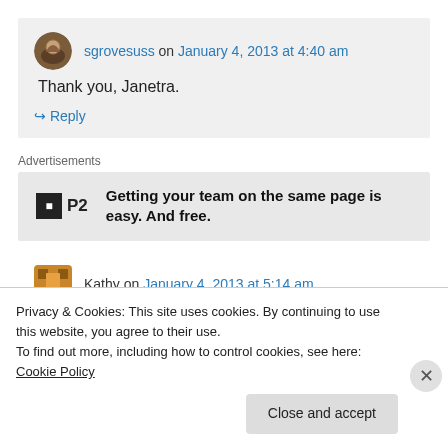sgrovesuss on January 4, 2013 at 4:40 am
Thank you, Janetra.
↳ Reply
Advertisements
[Figure (other): P2 advertisement: Getting your team on the same page is easy. And free.]
Kathy on January 4, 2013 at 5:14 am
Privacy & Cookies: This site uses cookies. By continuing to use this website, you agree to their use.
To find out more, including how to control cookies, see here: Cookie Policy
Close and accept